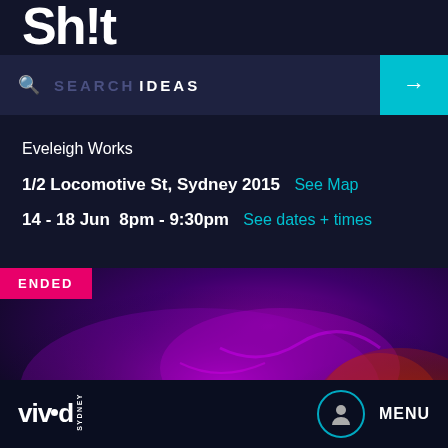Sh!t
SEARCH IDEAS
Eveleigh Works
1/2 Locomotive St, Sydney 2015  See Map
14 - 18 Jun  8pm - 9:30pm  See dates + times
[Figure (photo): Concert/performance photo showing purple glowing hands and lights against dark background with ENDED badge overlay]
Vivid Sydney  MENU